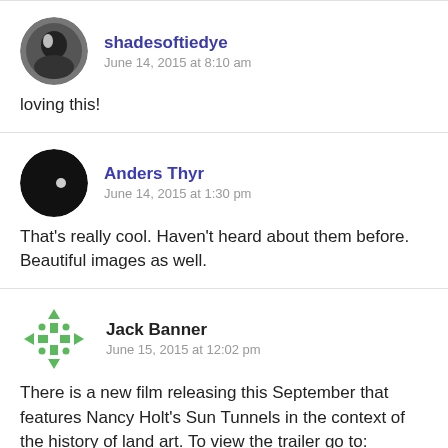shadesoftiedye
June 14, 2015 at 8:10 am
loving this!
Anders Thyr
June 14, 2015 at 1:30 pm
That's really cool. Haven't heard about them before. Beautiful images as well.
Jack Banner
June 15, 2015 at 12:02 pm
There is a new film releasing this September that features Nancy Holt's Sun Tunnels in the context of the history of land art. To view the trailer go to: